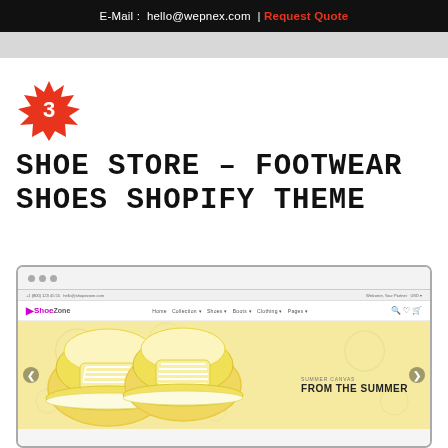E-Mail : hello@wepnex.com | Request Quote
SHOE STORE – FOOTWEAR SHOES SHOPIFY THEME
[Figure (screenshot): Screenshot of a shoe store Shopify theme called ShoeZone, showing a browser window with a yellow/cream banner featuring yellow canvas sneakers and text 'FROM THE SUMMER']